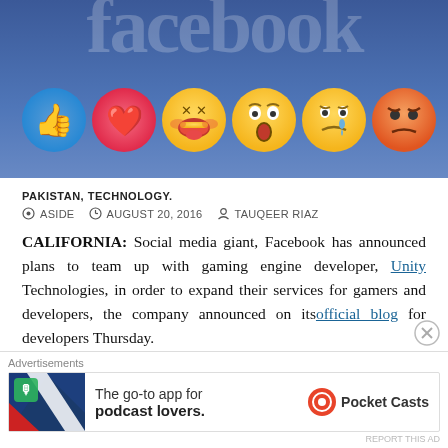[Figure (photo): Facebook header with emoji reactions (like, love, haha, wow, sad, angry) on a blue gradient background with partially visible Facebook logo text]
PAKISTAN, TECHNOLOGY.
ASIDE  AUGUST 20, 2016  TAUQEER RIAZ
CALIFORNIA: Social media giant, Facebook has announced plans to team up with gaming engine developer, Unity Technologies, in order to expand their services for gamers and developers, the company announced on its official blog for developers Thursday.
[Figure (other): Advertisement: Pocket Casts app promotional banner with logo and text 'The go-to app for podcast lovers.']